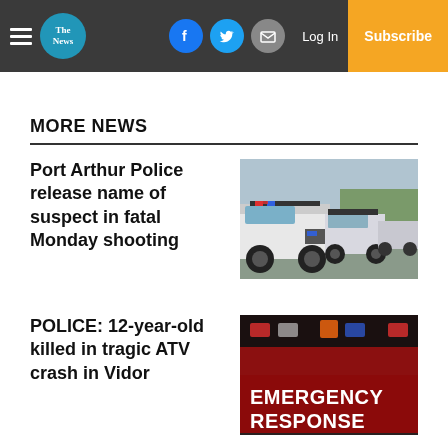The News — navigation bar with hamburger menu, logo, social icons (Facebook, Twitter, Email), Log In, Subscribe
MORE NEWS
Port Arthur Police release name of suspect in fatal Monday shooting
[Figure (photo): A row of white police vehicles with lights parked on a road]
POLICE: 12-year-old killed in tragic ATV crash in Vidor
[Figure (photo): Emergency response graphic with red background and white bold text reading EMERGENCY RESPONSE]